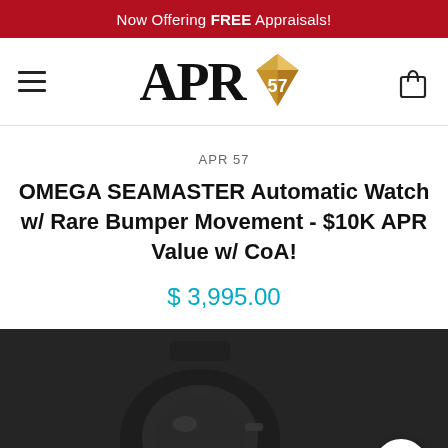Now Offering FREE Appraisals!
[Figure (logo): APR 57 logo with diamond gem shape containing '57' in white on gold, next to large serif 'APR' text]
APR 57
OMEGA SEAMASTER Automatic Watch w/ Rare Bumper Movement - $10K APR Value w/ CoA!
$ 3,995.00
[Figure (photo): Dark background photo showing a wristwatch (Omega Seamaster) with watch mechanism visible]